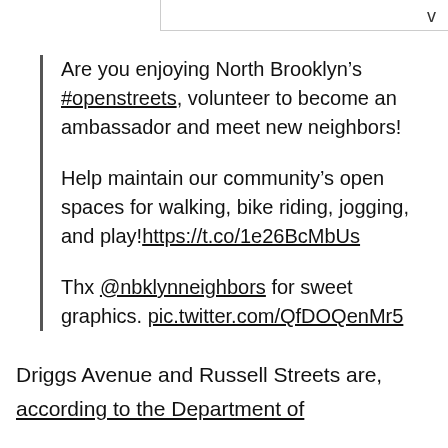Are you enjoying North Brooklyn's #openstreets, volunteer to become an ambassador and meet new neighbors!

Help maintain our community's open spaces for walking, bike riding, jogging, and play!https://t.co/1e26BcMbUs

Thx @nbklynneighbors for sweet graphics. pic.twitter.com/QfDOQenMr5
Driggs Avenue and Russell Streets are, according to the Department of